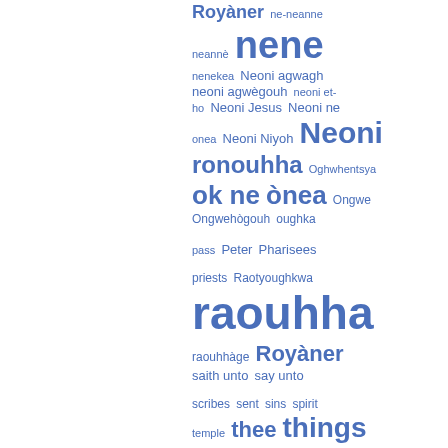[Figure (infographic): A word/tag cloud in blue text showing various terms in different sizes indicating frequency: Royàner, ne-neanne, neannè, nene (large), nenekea, Neoni agwagh, neoni agwègouh, neoni et-ho, Neoni Jesus, Neoni ne onea, Neoni Niyoh, Neoni (large), ronouhha (large), Oghwhentsya, ok ne (large), ònea (large), Ongwe, Ongwehògouh, oughka, pass, Peter, Pharisees, priests, Raotyoughkwa, raouhha (very large), raouhhàge, Royàner (large), saith unto, say unto, scribes, sent, sins, spirit, temple, thee (large), things (large), thou (very large), thou shalt, toghsa, took, tree]